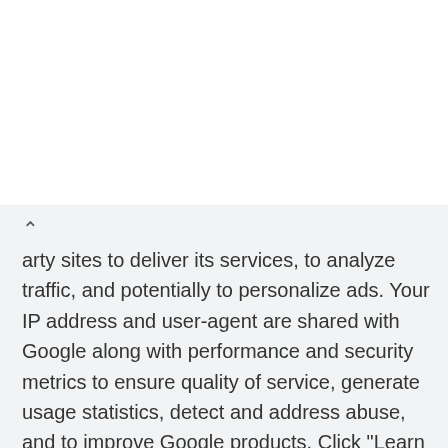[Figure (logo): Black circular logo with white stylized double-arrow/zigzag symbol]
Leesburg   OPEN | 10AM–9PM
241 Fort Evans Rd NE, Leesburg
[Figure (other): Blue diamond navigation/directions icon with white arrow]
arty sites to deliver its services, to analyze traffic, and potentially to personalize ads. Your IP address and user-agent are shared with Google along with performance and security metrics to ensure quality of service, generate usage statistics, detect and address abuse, and to improve Google products. Click "Learn more" to learn how your data is used, and change your cookie and privacy settings. By using this site, you agree to its use of cookies and other data.
Learn more
Got it!
nbed
REPLY